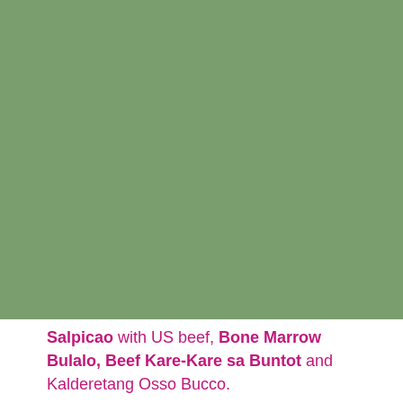[Figure (illustration): Large solid sage/olive green rectangular block filling the upper portion of the page.]
Salpicao with US beef, Bone Marrow Bulalo, Beef Kare-Kare sa Buntot and Kalderetang Osso Bucco.